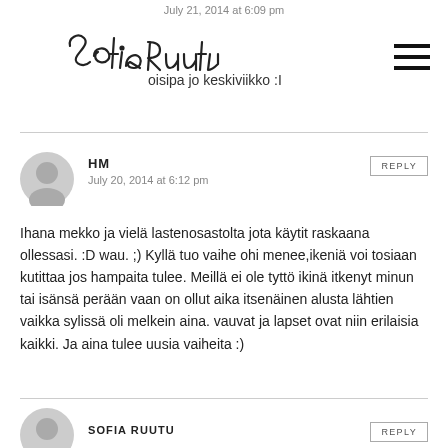July 21, 2014 at 6:09 pm
[Figure (illustration): Cursive signature logo of the blog author Sofia Ruutu]
oisipa jo keskiviikko :I
HM
July 20, 2014 at 6:12 pm
Ihana mekko ja vielä lastenosastolta jota käytit raskaana ollessasi. :D wau. ;) Kyllä tuo vaihe ohi menee,ikeniä voi tosiaan kutittaa jos hampaita tulee. Meillä ei ole tyttö ikinä itkenyt minun tai isänsä perään vaan on ollut aika itsenäinen alusta lähtien vaikka sylissä oli melkein aina. vauvat ja lapset ovat niin erilaisia kaikki. Ja aina tulee uusia vaiheita :)
SOFIA RUUTU